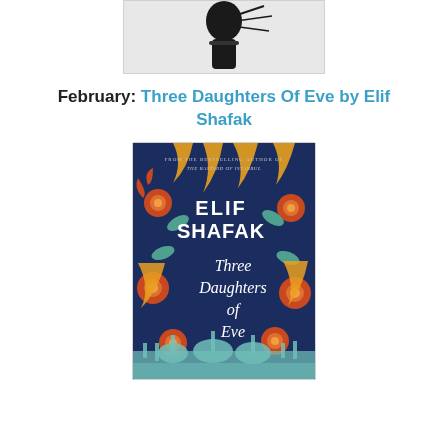[Figure (photo): Black and white photo of a person at the top of the page]
February: Three Daughters Of Eve by Elif Shafak
[Figure (photo): Book cover of 'Three Daughters of Eve' by Elif Shafak, showing ornate floral design with orange flowers on dark navy background, with text 'FROM THE BESTSELLING AUTHOR OF THE BASTARD OF ISTANBUL', author name 'ELIF SHAFAK', and title 'Three Daughters of Eve']